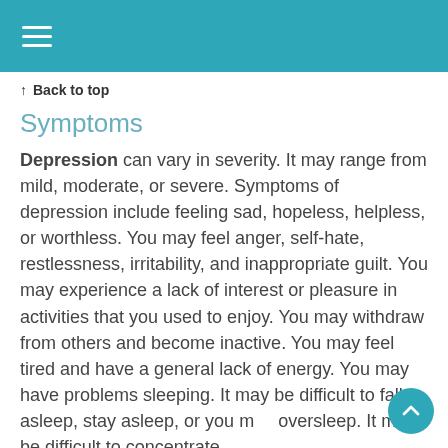☰ (hamburger menu)
↑ Back to top
Symptoms
Depression can vary in severity.  It may range from mild, moderate, or severe.  Symptoms of depression include feeling sad, hopeless, helpless, or worthless.  You may feel anger, self-hate, restlessness, irritability, and inappropriate guilt.  You may experience a lack of interest or pleasure in activities that you used to enjoy.  You may withdraw from others and become inactive.  You may feel tired and have a general lack of energy.  You may have problems sleeping.  It may be difficult to fall asleep, stay asleep, or you may oversleep.  It may be difficult to concentrate.